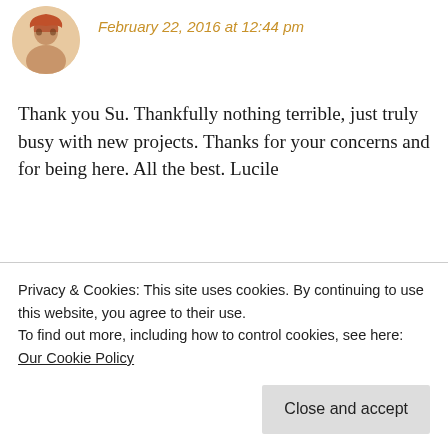February 22, 2016 at 12:44 pm
Thank you Su. Thankfully nothing terrible, just truly busy with new projects. Thanks for your concerns and for being here. All the best. Lucile
Liked by 1 person
REPLY
Privacy & Cookies: This site uses cookies. By continuing to use this website, you agree to their use. To find out more, including how to control cookies, see here: Our Cookie Policy
Close and accept